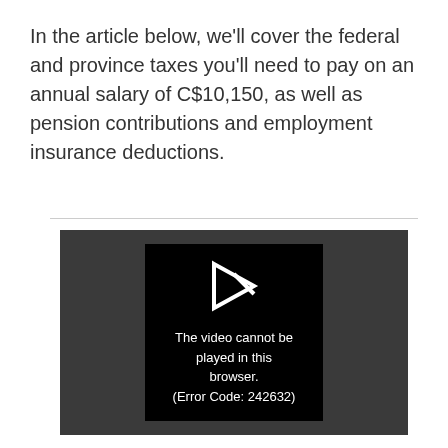In the article below, we'll cover the federal and province taxes you'll need to pay on an annual salary of C$10,150, as well as pension contributions and employment insurance deductions.
[Figure (screenshot): A video player showing an error message: 'The video cannot be played in this browser. (Error Code: 242632)' with a broken play icon on a dark background.]